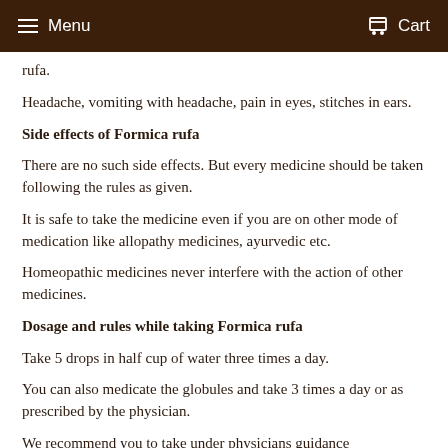Menu  Cart
rufa.
Headache, vomiting with headache, pain in eyes, stitches in ears.
Side effects of Formica rufa
There are no such side effects. But every medicine should be taken following the rules as given.
It is safe to take the medicine even if you are on other mode of medication like allopathy medicines, ayurvedic etc.
Homeopathic medicines never interfere with the action of other medicines.
Dosage and rules while taking Formica rufa
Take 5 drops in half cup of water three times a day.
You can also medicate the globules and take 3 times a day or as prescribed by the physician.
We recommend you to take under physicians guidance